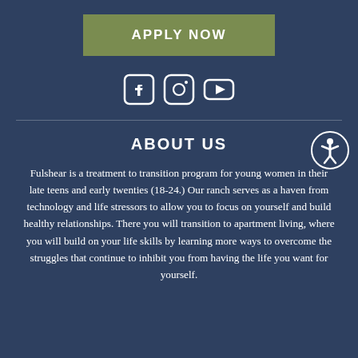APPLY NOW
[Figure (infographic): Social media icons: Facebook, Instagram, YouTube]
ABOUT US
Fulshear is a treatment to transition program for young women in their late teens and early twenties (18-24.) Our ranch serves as a haven from technology and life stressors to allow you to focus on yourself and build healthy relationships. There you will transition to apartment living, where you will build on your life skills by learning more ways to overcome the struggles that continue to inhibit you from having the life you want for yourself.